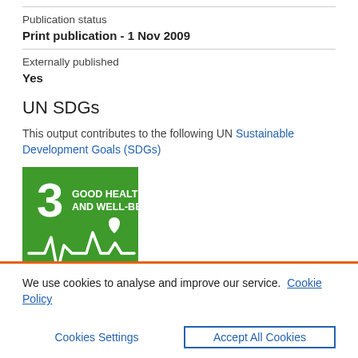Publication status
Print publication - 1 Nov 2009
Externally published
Yes
UN SDGs
This output contributes to the following UN Sustainable Development Goals (SDGs)
[Figure (logo): UN SDG 3 badge - Good Health and Well-Being, green background with number 3 and health icon]
We use cookies to analyse and improve our service. Cookie Policy
Cookies Settings
Accept All Cookies